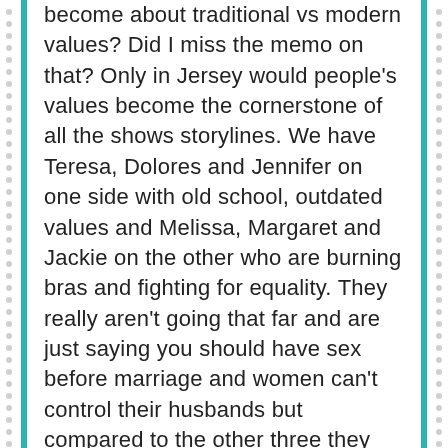become about traditional vs modern values? Did I miss the memo on that? Only in Jersey would people's values become the cornerstone of all the shows storylines. We have Teresa, Dolores and Jennifer on one side with old school, outdated values and Melissa, Margaret and Jackie on the other who are burning bras and fighting for equality. They really aren't going that far and are just saying you should have sex before marriage and women can't control their husbands but compared to the other three they seem like Gloria Steinem. Obviously, I'm on the latter's team because I can't